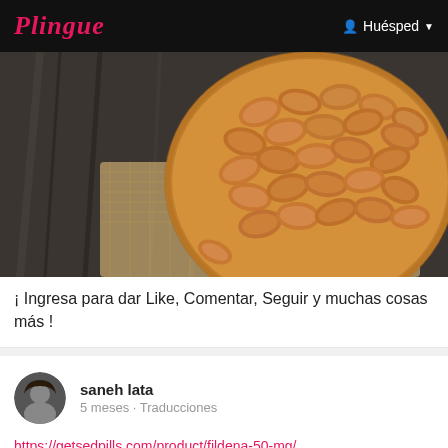Plingue   Huésped
[Figure (photo): A bowl of almonds on a wooden surface with burlap cloth, photographed from above]
¡ Ingresa para dar Like, Comentar, Seguir y muchas cosas más !
saneh lata
5 meses - Traducciones
https://getsedpills.com/product/fildena-50-mg/